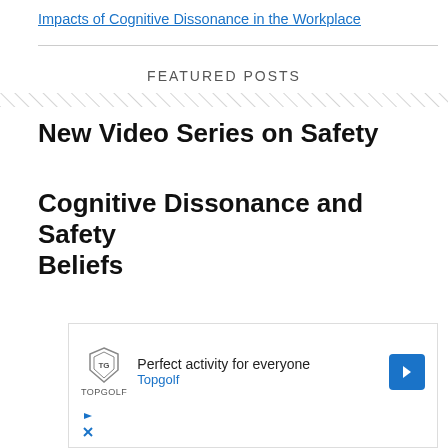Impacts of Cognitive Dissonance in the Workplace
FEATURED POSTS
New Video Series on Safety
Cognitive Dissonance and Safety Beliefs
[Figure (other): Advertisement for Topgolf: 'Perfect activity for everyone' with Topgolf logo and blue arrow icon]